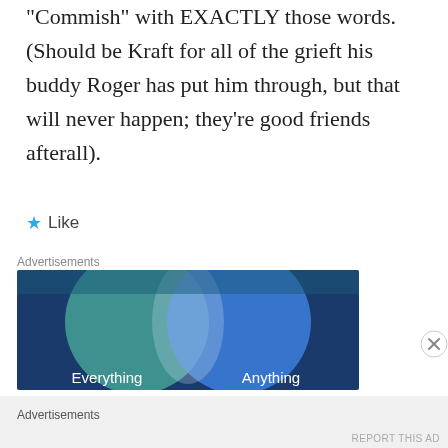“Commish” with EXACTLY those words. (Should be Kraft for all of the grieft his buddy Roger has put him through, but that will never happen; they’re good friends afterall).
★ Like
Advertisements
[Figure (illustration): Advertisement banner showing two overlapping circles (Venn diagram style) in teal/green and blue on a dark blue background, with text 'Everything' and 'Anything' at the bottom.]
Advertisements
REPORT THIS AD